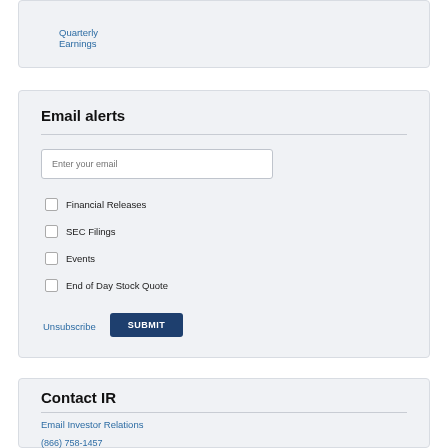Quarterly Earnings
Email alerts
Financial Releases
SEC Filings
Events
End of Day Stock Quote
Unsubscribe
Contact IR
Email Investor Relations
(866) 758-1457